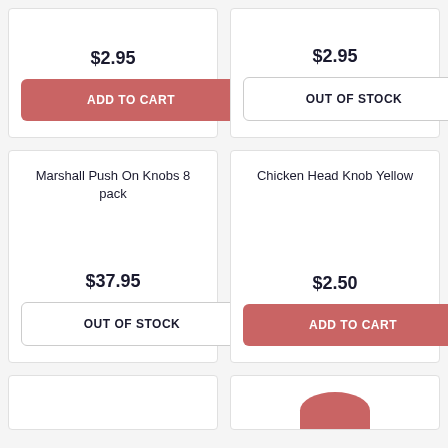$2.95
ADD TO CART
$2.95
OUT OF STOCK
Marshall Push On Knobs 8 pack
$37.95
OUT OF STOCK
Chicken Head Knob Yellow
$2.50
ADD TO CART